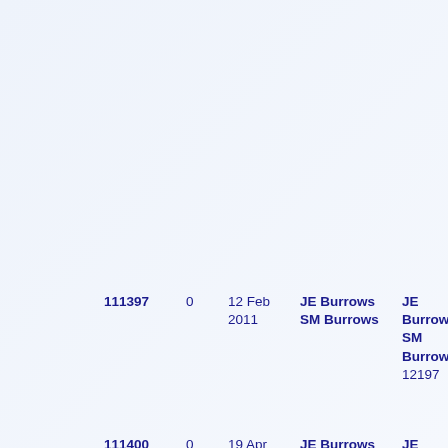| 111397 | 0 | 12 Feb 2011 | JE Burrows
SM Burrows | JE Burrows
SM Burrows
12197 | JE Burrows |
| 111400 | 0 | 19 Apr 2010 | JE Burrows
SM Burrows | JE Burrows
SM Burrows
11842 | JE Burrows |